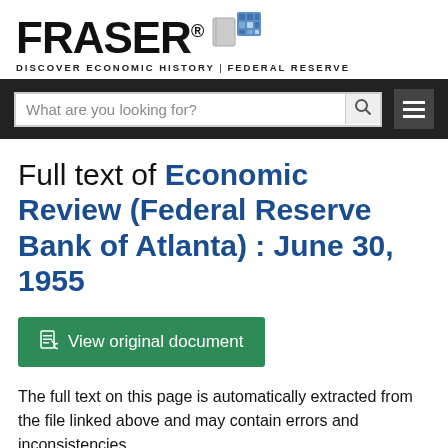[Figure (logo): FRASER logo with stylized book/chip icon and tagline DISCOVER ECONOMIC HISTORY | FEDERAL RESERVE]
[Figure (screenshot): Website navigation bar with search box placeholder text 'What are you looking for?' and a magnifying glass icon, plus a hamburger menu icon]
Full text of Economic Review (Federal Reserve Bank of Atlanta) : June 30, 1955
[Figure (other): Green button labeled 'View original document' with a document icon]
The full text on this page is automatically extracted from the file linked above and may contain errors and inconsistencies.